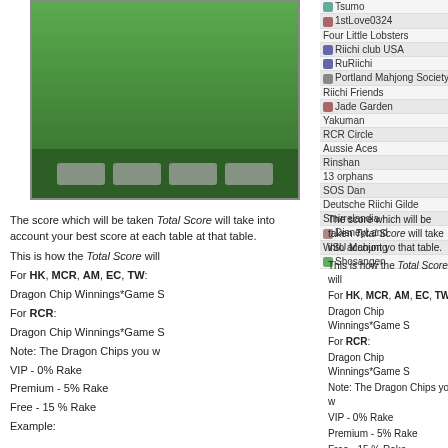[Figure (screenshot): Mahjong game interface showing a green game table with buttons at the bottom]
| Club | Score |
| --- | --- |
| Tsumo | 3816049 |
| 1stLove0324 | 3668266 |
| Four Little Lobsters | 1242300 |
| Riichi club USA | 931200 |
| RuRiichi | 684300 |
| Portland Mahjong Society | 249400 |
| Riichi Friends | 240500 |
| Jade Garden | 186400 |
| Yakuman | 111700 |
| RCR Circle | 63600 |
| Aussie Aces | 22400 |
| Rinshan | 3500 |
| 13 orphans | 0 |
| SOS Dan | 0 |
| Deutsche Riichi Gilde | 0 |
| Smirrelandia | 0 |
| DisneyLand | 0 |
| WSU Mahjong | 0 |
| Shosangen | 0 |
The score which will be taken into account as your Total Score will take into account your best score at each table at that table. This is how the Total Score will be calculated: For HK, MCR, AM, EC, TW: Dragon Chip Winnings*Game Score For RCR: Dragon Chip Winnings*Game Score Note: The Dragon Chips you win are subject to a Rake: VIP - 0% Rake Premium - 5% Rake Free - 15 % Rake Example: